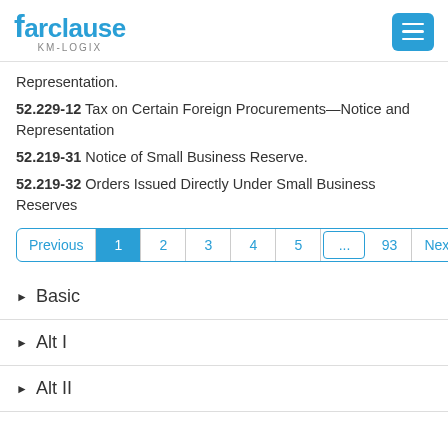farclause KM-LOGIX
Representation.
52.229-12 Tax on Certain Foreign Procurements—Notice and Representation
52.219-31 Notice of Small Business Reserve.
52.219-32 Orders Issued Directly Under Small Business Reserves
Previous 1 2 3 4 5 ... 93 Next
Basic
Alt I
Alt II